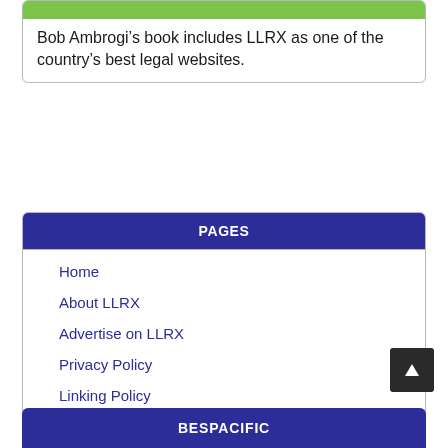[Figure (other): Green banner image at top of card]
Bob Ambrogi’s book includes LLRX as one of the country’s best legal websites.
PAGES
Home
About LLRX
Advertise on LLRX
Privacy Policy
Linking Policy
Contact Us
BESPACIFIC